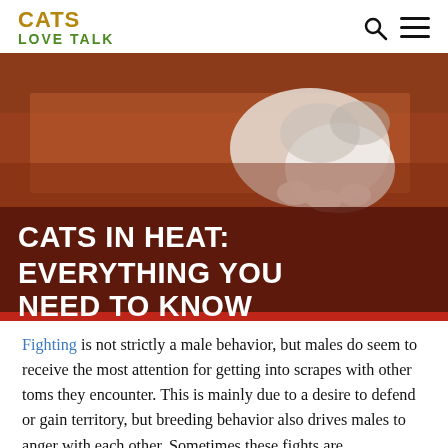CATS LOVE TALK
[Figure (photo): A cat lying on red carpet/stairs, paws visible, with overlaid text 'CATS IN HEAT: EVERYTHING YOU NEED TO KNOW' on a dark brown/maroon banner]
CATS IN HEAT: EVERYTHING YOU NEED TO KNOW
Fighting is not strictly a male behavior, but males do seem to receive the most attention for getting into scrapes with other toms they encounter. This is mainly due to a desire to defend or gain territory, but breeding behavior also drives males to anger with each other. Sometimes these fights are